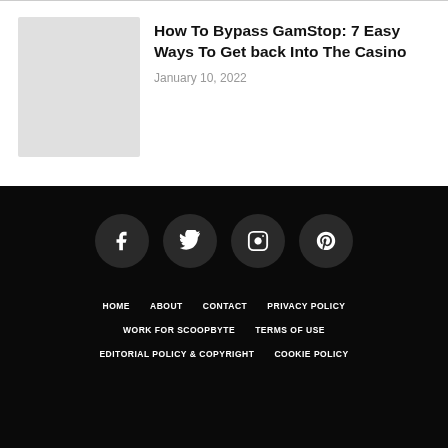[Figure (photo): Thumbnail image placeholder for article]
How To Bypass GamStop: 7 Easy Ways To Get back Into The Casino
January 10, 2022
[Figure (infographic): Social media icons: Facebook, Twitter, Instagram, Pinterest]
HOME  ABOUT  CONTACT  PRIVACY POLICY  WORK FOR SCOOPBYTE  TERMS OF USE  EDITORIAL POLICY & COPYRIGHT  COOKIE POLICY